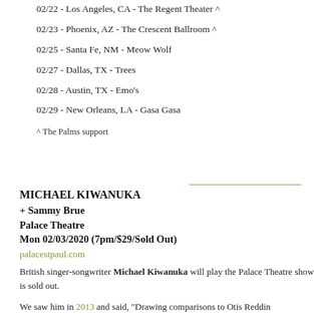02/22 - Los Angeles, CA - The Regent Theater ^
02/23 - Phoenix, AZ - The Crescent Ballroom ^
02/25 - Santa Fe, NM - Meow Wolf
02/27 - Dallas, TX - Trees
02/28 - Austin, TX - Emo's
02/29 - New Orleans, LA - Gasa Gasa
^ The Palms support
MICHAEL KIWANUKA
+ Sammy Brue
Palace Theatre
Mon 02/03/2020 (7pm/$29/Sold Out)
palacestpaul.com
British singer-songwriter Michael Kiwanuka will play the Palace Theatre show is sold out.
We saw him in 2013 and said, "Drawing comparisons to Otis Reddin